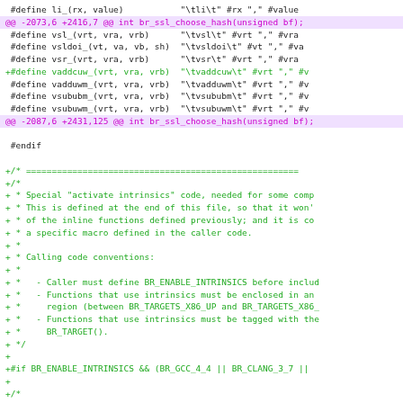Code diff showing changes to br_ssl_choose_hash and intrinsics code in a C header file
[Figure (screenshot): Source code diff view showing context lines in black, added lines in green with + prefix, and hunk headers in magenta/purple. Content includes #define macros and a comment block about activate intrinsics code calling conventions.]